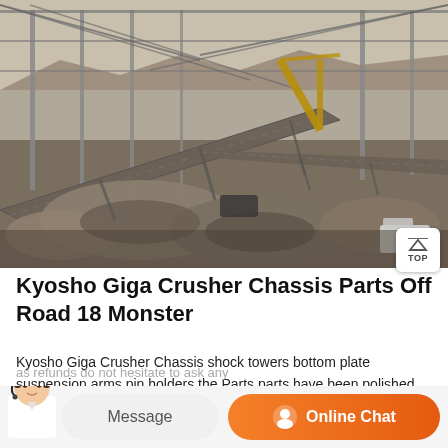[Figure (photo): Industrial conveyor belt system at a quarry or mining facility, showing multiple conveyor belts transporting crushed rock/gravel under a large steel-frame structure. Cranes and construction equipment visible in background.]
Kyosho Giga Crusher Chassis Parts Off Road 18 Monster
Kyosho Giga Crusher Chassis shock towers bottom plate suspension arms pin holders the Parts parts have been polished from Mac to chrome for Off Road 1/8 Monster Truck Chassis Parts. Condition is
as refunds do not hesitate to ask any